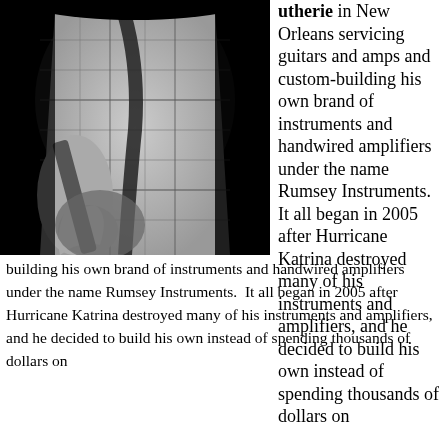[Figure (photo): Black and white photo of a musician playing guitar, wearing a plaid shirt with a guitar strap, viewed from torso down, hands on guitar neck, dark background.]
utherie in New Orleans servicing guitars and amps and custom-building his own brand of instruments and handwired amplifiers under the name Rumsey Instruments. It all began in 2005 after Hurricane Katrina destroyed many of his instruments and amplifiers, and he decided to build his own instead of spending thousands of dollars on